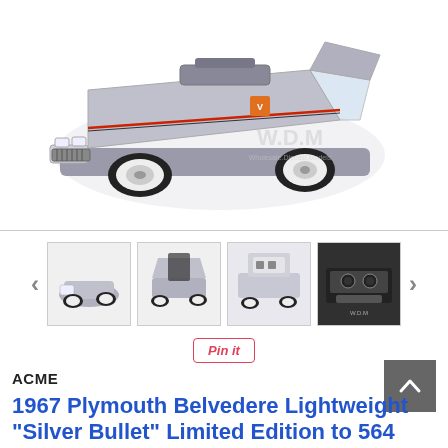[Figure (photo): Silver 1967 Plymouth Belvedere Lightweight diecast model car, front three-quarter view, with W.D.M Wholesale Diecast Models watermark in the center-right area]
[Figure (photo): Four thumbnail images of the diecast model car showing different angles: front view, rear with open trunk/doors, engine bay, and interior dashboard]
Pin it
ACME
1967 Plymouth Belvedere Lightweight "Silver Bullet" Limited Edition to 564